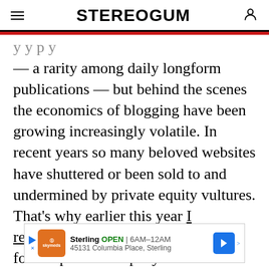STEREOGUM
— a rarity among daily longform publications — but behind the scenes the economics of blogging have been growing increasingly volatile. In recent years so many beloved websites have shuttered or been sold to and undermined by private equity vultures. That's why earlier this year I reacquired Stereogum from our former parent company and we became a fully independent publication with no corporate investment.
[Figure (other): Advertisement banner for Sterling restaurant: OPEN 6AM-12AM, 45131 Columbia Place, Sterling, with navigation arrow icon]